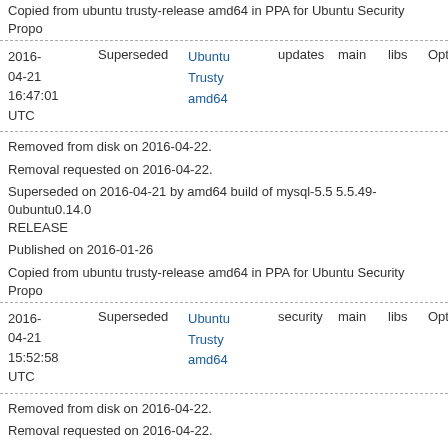Copied from ubuntu trusty-release amd64 in PPA for Ubuntu Security Propo...
| Date | Status | Distro | Type | Component | Arch | Priority |
| --- | --- | --- | --- | --- | --- | --- |
| 2016-04-21 16:47:01 UTC | Superseded | Ubuntu Trusty amd64 | updates | main | libs | Optional |
Removed from disk on 2016-04-22.
Removal requested on 2016-04-22.
Superseded on 2016-04-21 by amd64 build of mysql-5.5 5.5.49-0ubuntu0.14.0 RELEASE
Published on 2016-01-26
Copied from ubuntu trusty-release amd64 in PPA for Ubuntu Security Propo...
| Date | Status | Distro | Type | Component | Arch | Priority |
| --- | --- | --- | --- | --- | --- | --- |
| 2016-04-21 15:52:58 UTC | Superseded | Ubuntu Trusty amd64 | security | main | libs | Optional |
Removed from disk on 2016-04-22.
Removal requested on 2016-04-22.
Superseded on 2016-04-21 by amd64 build of mysql-5.5 5.5.49-0ubuntu0.14.0 RELEASE
Published on 2016-01-26
Copied from ubuntu trusty-release amd64 in PPA for Ubuntu Security Propo...